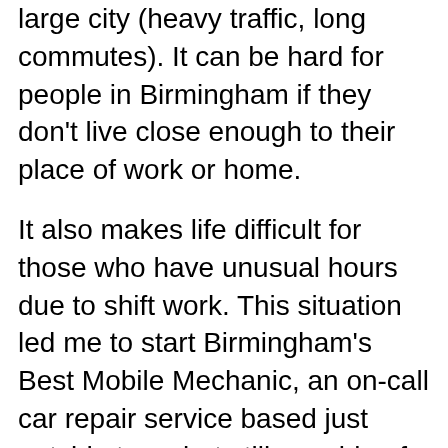large city (heavy traffic, long commutes). It can be hard for people in Birmingham if they don't live close enough to their place of work or home.
It also makes life difficult for those who have unusual hours due to shift work. This situation led me to start Birmingham's Best Mobile Mechanic, an on-call car repair service based just outside town but still capable of reaching anyone within 25 miles of the city! Looking for a mechanic who comes to you? There's no need to drive around looking for a garage when you can have me come right to your door!
I offer the best mobile repairs service for your vehicle in town. My goal is to provide you with quality workmanship and customer